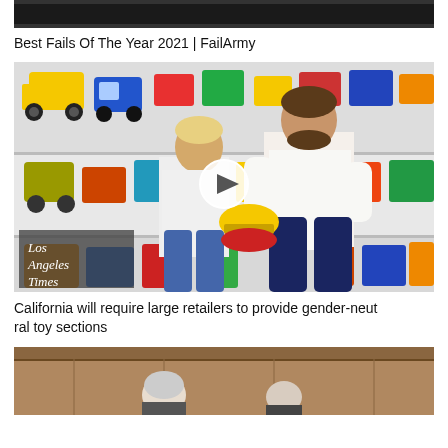[Figure (screenshot): Top portion of a video thumbnail, dark/black image cropped at top]
Best Fails Of The Year 2021 | FailArmy
[Figure (photo): A father and young boy in a toy store aisle examining a yellow toy helmet/hard hat. Colorful toy vehicles on shelves behind them. Los Angeles Times logo overlay in bottom left. Play button overlay in center.]
California will require large retailers to provide gender-neutral toy sections
[Figure (screenshot): Bottom portion showing what appears to be a meeting room with people seated, brown/wood paneling visible]